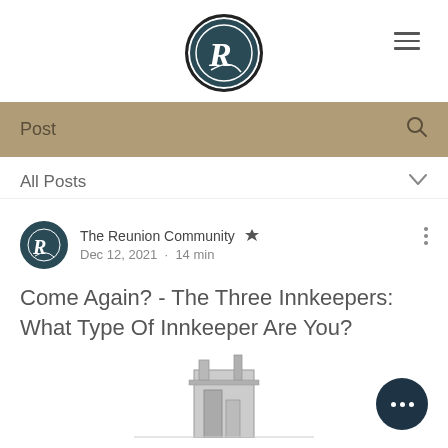The Reunion Community logo and navigation
Post
All Posts
The Reunion Community  Dec 12, 2021 · 14 min
Come Again? - The Three Innkeepers: What Type Of Innkeeper Are You?
[Figure (illustration): Partial bottom view of an old building or inn structure, black and white illustration]